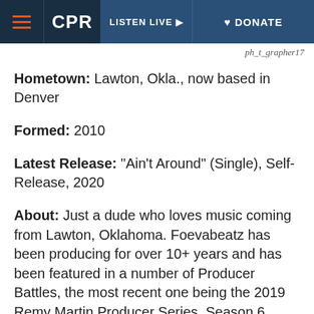CPR | LISTEN LIVE | DONATE
ph_t_grapher17
Hometown: Lawton, Okla., now based in Denver
Formed: 2010
Latest Release: "Ain't Around" (Single), Self-Release, 2020
About: Just a dude who loves music coming from Lawton, Oklahoma. Foevabeatz has been producing for over 10+ years and has been featured in a number of Producer Battles, the most recent one being the 2019 Remy Martin Producer Series, Season 6. Foevabeatz has worked with